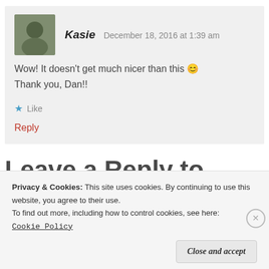Kasie   December 18, 2016 at 1:39 am
Wow! It doesn't get much nicer than this 😊 Thank you, Dan!!
★ Like
Reply
Leave a Reply to Kasie
Privacy & Cookies: This site uses cookies. By continuing to use this website, you agree to their use.
To find out more, including how to control cookies, see here:
Cookie Policy
Close and accept